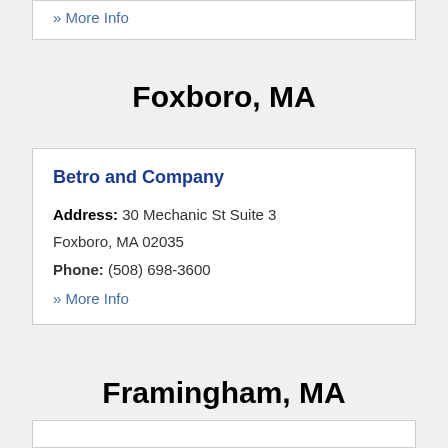» More Info
Foxboro, MA
Betro and Company
Address: 30 Mechanic St Suite 3 Foxboro, MA 02035
Phone: (508) 698-3600
» More Info
Framingham, MA